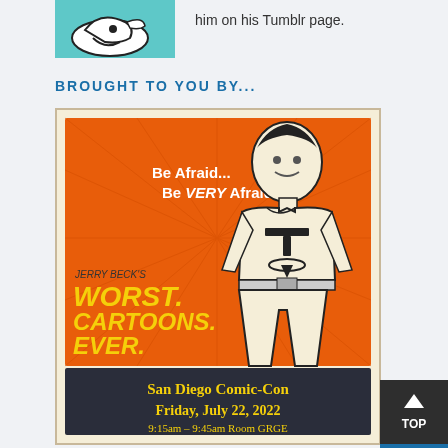[Figure (illustration): Cartoon duck/swan illustration on teal/cyan background, top-left corner]
him on his Tumblr page.
BROUGHT TO YOU BY...
[Figure (illustration): Promotional poster for Jerry Beck's Worst. Cartoons. Ever. at San Diego Comic-Con, Friday, July 22, 2022. Features a retro-style superhero figure on orange background with text 'Be Afraid... Be VERY Afraid'. Bottom panel shows event details in yellow text on dark background.]
[Figure (other): TOP scroll button in dark gray with blue underline, bottom right corner]